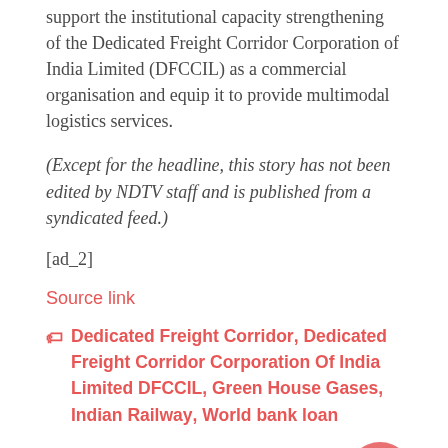support the institutional capacity strengthening of the Dedicated Freight Corridor Corporation of India Limited (DFCCIL) as a commercial organisation and equip it to provide multimodal logistics services.
(Except for the headline, this story has not been edited by NDTV staff and is published from a syndicated feed.)
[ad_2]
Source link
Dedicated Freight Corridor, Dedicated Freight Corridor Corporation Of India Limited DFCCIL, Green House Gases, Indian Railway, World bank loan
Related Posts
ysl black opium dossier.co